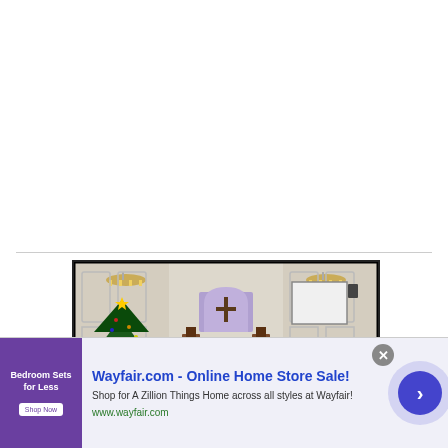[Figure (photo): Interior of a church sanctuary decorated for Christmas, with chandelier lights, a cross window, wooden pews, and a Christmas tree on the left side.]
[Figure (photo): Advertisement banner for Wayfair.com showing bedroom furniture thumbnail with purple background, headline 'Wayfair.com - Online Home Store Sale!', body text 'Shop for A Zillion Things Home across all styles at Wayfair!', URL www.wayfair.com, a close button, and a blue arrow navigation button.]